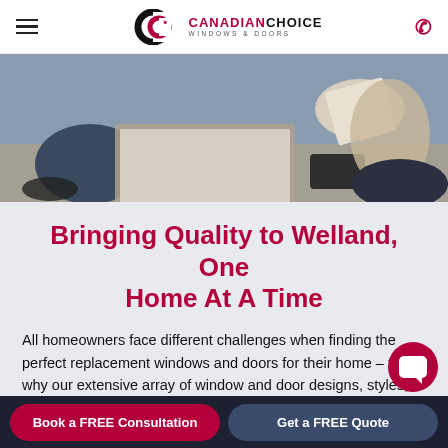Canadian Choice Windows & Doors
[Figure (photo): Person sitting with laptop and papers on a table, viewed from the side]
Bringing Quality to Welland, One Home At A Time
All homeowners face different challenges when finding the perfect replacement windows and doors for their home – that's why our extensive array of window and door designs, styles, and colouring, combined with our custom manufacturing, makes sure no Wella...
Book a FREE Consultation
Get a FREE Quote